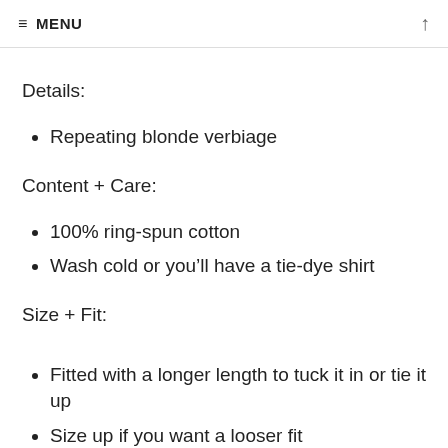≡ MENU ↑
Details:
Repeating blonde verbiage
Content + Care:
100% ring-spun cotton
Wash cold or you'll have a tie-dye shirt
Size + Fit:
Fitted with a longer length to tuck it in or tie it up
Size up if you want a looser fit